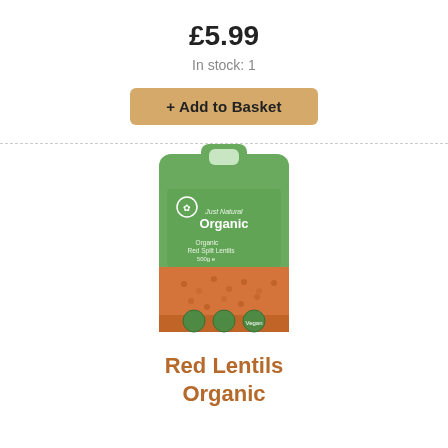£5.99
In stock: 1
+ Add to Basket
[Figure (photo): Green bag of Just Natural Organic Red Split Lentils 500g with vegan badge and other certifications visible at the bottom]
Red Lentils Organic